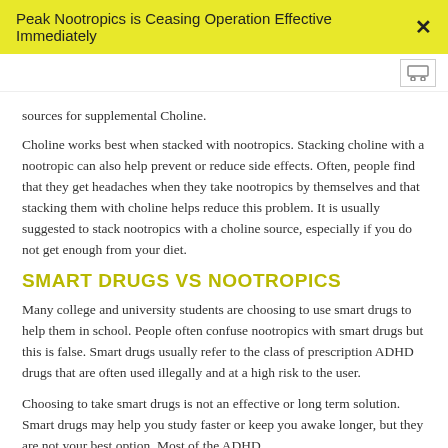Peak Nootropics is Ceasing Operation Effective Immediately
sources for supplemental Choline.
Choline works best when stacked with nootropics. Stacking choline with a nootropic can also help prevent or reduce side effects. Often, people find that they get headaches when they take nootropics by themselves and that stacking them with choline helps reduce this problem. It is usually suggested to stack nootropics with a choline source, especially if you do not get enough from your diet.
SMART DRUGS VS NOOTROPICS
Many college and university students are choosing to use smart drugs to help them in school. People often confuse nootropics with smart drugs but this is false. Smart drugs usually refer to the class of prescription ADHD drugs that are often used illegally and at a high risk to the user.
Choosing to take smart drugs is not an effective or long term solution. Smart drugs may help you study faster or keep you awake longer, but they are not your best option. Most of the ADHD